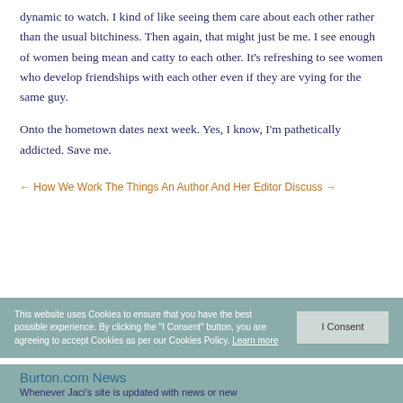dynamic to watch. I kind of like seeing them care about each other rather than the usual bitchiness. Then again, that might just be me. I see enough of women being mean and catty to each other. It's refreshing to see women who develop friendships with each other even if they are vying for the same guy.
Onto the hometown dates next week. Yes, I know, I'm pathetically addicted. Save me.
← How We Work The Things An Author And Her Editor Discuss →
This website uses Cookies to ensure that you have the best possible experience. By clicking the "I Consent" button, you are agreeing to accept Cookies as per our Cookies Policy. Learn more
Burton.com News
Whenever Jaci's site is updated with news or new